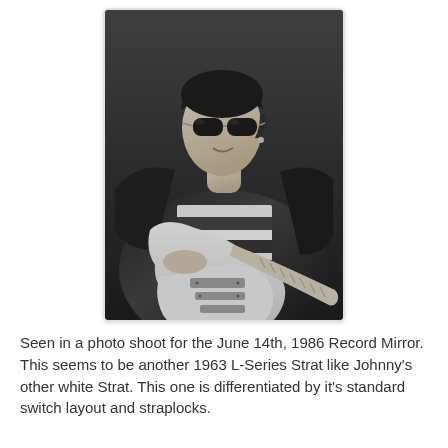[Figure (photo): Black and white photograph of a young man with dark hair wearing sunglasses, a leather jacket over a striped shirt, holding a white electric guitar (Stratocaster). The photo appears to be from the 1980s, taken during a photo shoot.]
Seen in a photo shoot for the June 14th, 1986 Record Mirror. This seems to be another 1963 L-Series Strat like Johnny's other white Strat. This one is differentiated by it's standard switch layout and straplocks.